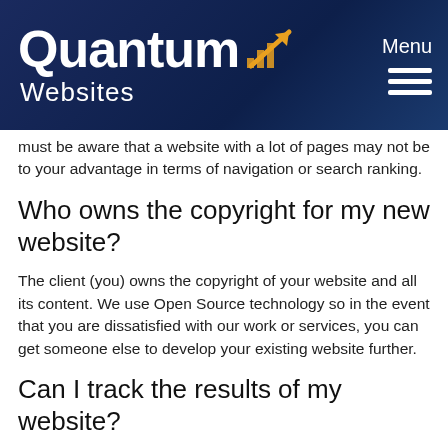Quantum Websites
must be aware that a website with a lot of pages may not be to your advantage in terms of navigation or search ranking.
Who owns the copyright for my new website?
The client (you) owns the copyright of your website and all its content. We use Open Source technology so in the event that you are dissatisfied with our work or services, you can get someone else to develop your existing website further.
Can I track the results of my website?
Yes. Your website comes with Google Analytics Visitor Tracking which will help you answer some of the most important questions about your website, such as
How many people visited my site?